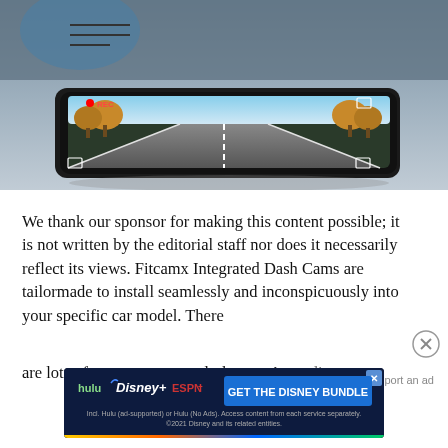[Figure (photo): A dash cam device showing a road scene with trees and autumn foliage on a straight road, mounted on a car interior background (dark/gray).]
We thank our sponsor for making this content possible; it is not written by the editorial staff nor does it necessarily reflect its views. Fitcamx Integrated Dash Cams are tailormade to install seamlessly and inconspicuously into your specific car model. There are lots of reasons to use a dash cam. According to
Report an ad
[Figure (screenshot): Disney Bundle advertisement banner showing Hulu, Disney+, and ESPN+ logos with text 'GET THE DISNEY BUNDLE'. Fine print: 'Incl. Hulu (ad-supported) or Hulu (No Ads). Access content from each service separately. ©2021 Disney and its related entities.']